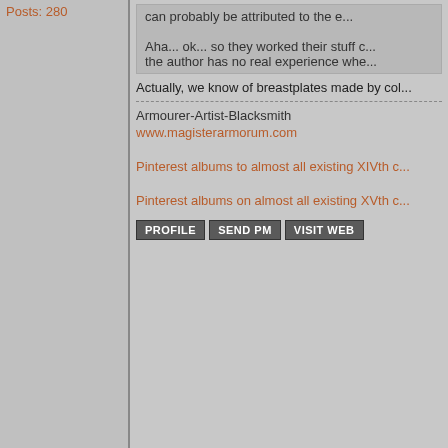Posts: 280
can probably be attributed to the e...
Aha... ok... so they worked their stuff c... the author has no real experience whe...
Actually, we know of breastplates made by col...
Armourer-Artist-Blacksmith
www.magisterarmorum.com
Pinterest albums to almost all existing XIVth c...
Pinterest albums on almost all existing XVth c...
PROFILE  SEND PM  VISIT WEB
Henry O.
Posted: Wed 20 Dec, 2017 4:21 pm    Post subject:
Steve Fabert wrote:
Spalling is always a potential problem with... of chips from the interior surface opposite... problems with no known fix at the time.
Thanks, this is sort of what I was thinking of A...
Joined: 18 Jun 2016
Posts: 189